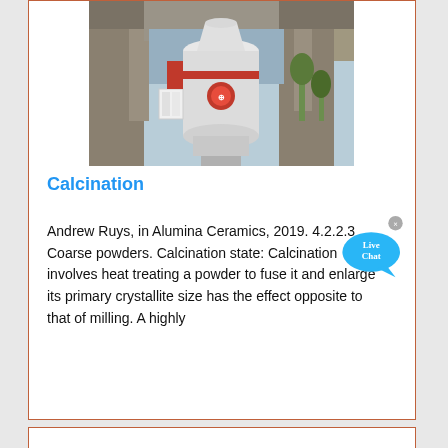[Figure (photo): Industrial milling/grinding machine (large white cylindrical equipment) outdoors under a concrete overpass structure]
Calcination
Andrew Ruys, in Alumina Ceramics, 2019. 4.2.2.3 Coarse powders. Calcination state: Calcination involves heat treating a powder to fuse it and enlarge its primary crystallite size has the effect opposite to that of milling. A highly
[Figure (photo): Cloudy sky photograph, light blue and white clouds]